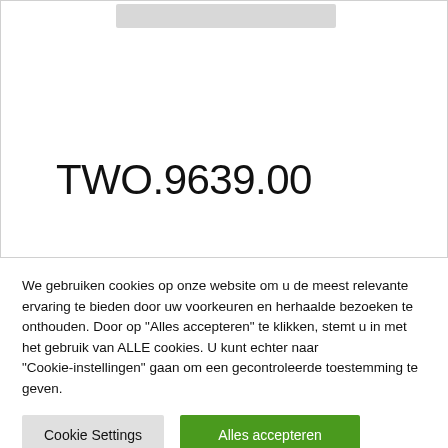[Figure (photo): Product image area at top of product card, partially visible gray placeholder image]
TWO.9639.00
We gebruiken cookies op onze website om u de meest relevante ervaring te bieden door uw voorkeuren en herhaalde bezoeken te onthouden. Door op "Alles accepteren" te klikken, stemt u in met het gebruik van ALLE cookies. U kunt echter naar "Cookie-instellingen" gaan om een gecontroleerde toestemming te geven.
Cookie Settings
Alles accepteren